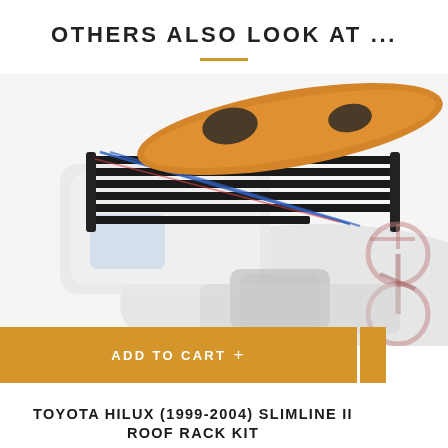OTHERS ALSO LOOK AT ...
[Figure (photo): Toyota Hilux truck with Slimline II roof rack kit loaded with a kayak and a bicycle, shown from an aerial perspective]
ADD TO CART +
TOYOTA HILUX (1999-2004) SLIMLINE II ROOF RACK KIT